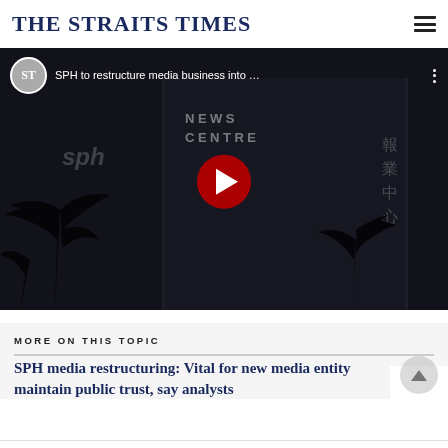THE STRAITS TIMES
[Figure (screenshot): YouTube video thumbnail showing SPH News Centre building at night with video title 'SPH to restructure media business into ...' and a YouTube play button overlay. Palm trees silhouetted in foreground.]
MORE ON THIS TOPIC
SPH media restructuring: Vital for new media entity maintain public trust, say analysts